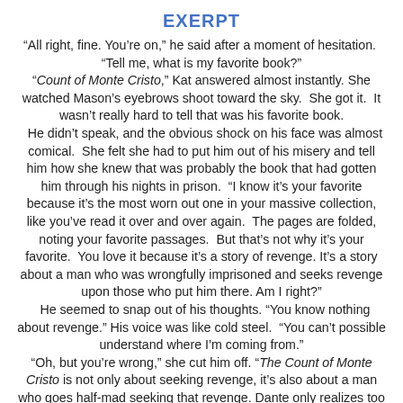EXERPT
“All right, fine. You’re on,” he said after a moment of hesitation. “Tell me, what is my favorite book?” “Count of Monte Cristo,” Kat answered almost instantly. She watched Mason’s eyebrows shoot toward the sky. She got it. It wasn’t really hard to tell that was his favorite book. He didn’t speak, and the obvious shock on his face was almost comical. She felt she had to put him out of his misery and tell him how she knew that was probably the book that had gotten him through his nights in prison. “I know it’s your favorite because it’s the most worn out one in your massive collection, like you’ve read it over and over again. The pages are folded, noting your favorite passages. But that’s not why it’s your favorite. You love it because it’s a story of revenge. It’s a story about a man who was wrongfully imprisoned and seeks revenge upon those who put him there. Am I right?” He seemed to snap out of his thoughts. “You know nothing about revenge.” His voice was like cold steel. “You can’t possible understand where I’m coming from.” “Oh, but you’re wrong,” she cut him off. “The Count of Monte Cristo is not only about seeking revenge, it’s also about a man who goes half-mad seeking that revenge. Dante only realizes too late that in order for him to truly get revenge, he